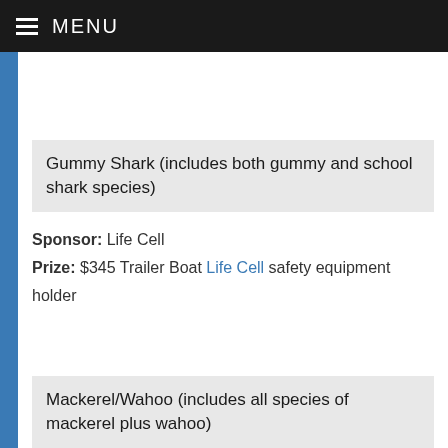≡ MENU
Gummy Shark (includes both gummy and school shark species)
Sponsor: Life Cell
Prize: $345 Trailer Boat Life Cell safety equipment holder
Mackerel/Wahoo (includes all species of mackerel plus wahoo)